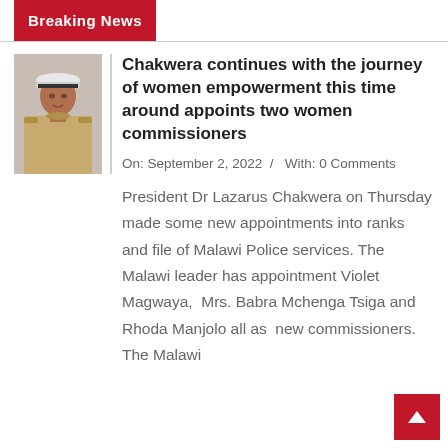Breaking News
[Figure (photo): Photo of a woman in police uniform with a white peaked cap]
Chakwera continues with the journey of women empowerment this time around appoints two women commissioners
On: September 2, 2022  /  With: 0 Comments
President Dr Lazarus Chakwera on Thursday made some new appointments into ranks and file of Malawi Police services. The Malawi leader has appointment Violet Magwaya,  Mrs. Babra Mchenga Tsiga and Rhoda Manjolo all as  new commissioners. The Malawi